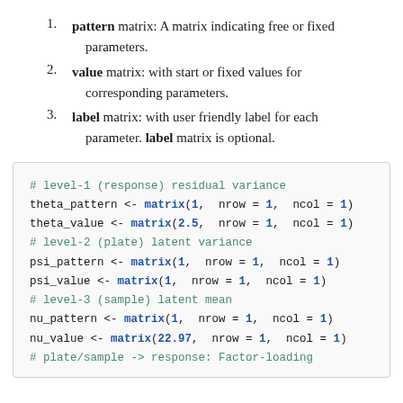pattern matrix: A matrix indicating free or fixed parameters.
value matrix: with start or fixed values for corresponding parameters.
label matrix: with user friendly label for each parameter. label matrix is optional.
# level-1 (response) residual variance
theta_pattern <- matrix(1, nrow = 1, ncol = 1)
theta_value <- matrix(2.5, nrow = 1, ncol = 1)
# level-2 (plate) latent variance
psi_pattern <- matrix(1, nrow = 1, ncol = 1)
psi_value <- matrix(1, nrow = 1, ncol = 1)
# level-3 (sample) latent mean
nu_pattern <- matrix(1, nrow = 1, ncol = 1)
nu_value <- matrix(22.97, nrow = 1, ncol = 1)
# plate/sample -> response: Factor-loading